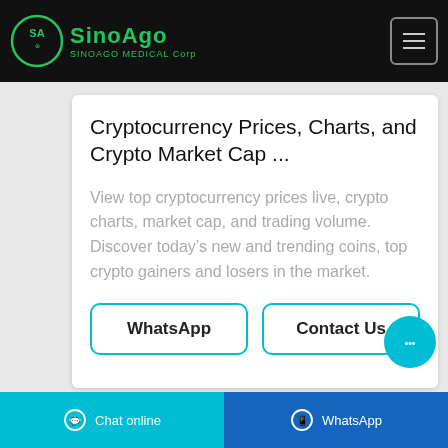SinoAgo SINOAGO MEDICAL Corp
Cryptocurrency Prices, Charts, and Crypto Market Cap ...
View top cryptocurrency prices live, crypto charts, market cap, and trading volume. Discover today's new and trending coins, top crypto gainers and losers in the market.
WhatsApp
Contact Us
Chat online | WhatsApp